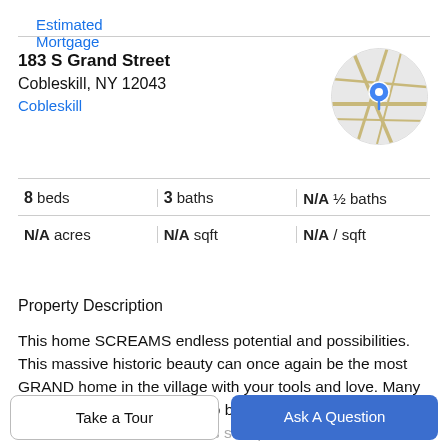Estimated Mortgage
183 S Grand Street
Cobleskill, NY 12043
Cobleskill
[Figure (map): Circular map thumbnail showing Cobleskill, NY with a blue location pin marker]
8 beds | 3 baths | N/A ½ baths | N/A acres | N/A sqft | N/A / sqft
Property Description
This home SCREAMS endless potential and possibilities. This massive historic beauty can once again be the most GRAND home in the village with your tools and love. Many original features are calling to be restored. This home has 8 bedrooms and the 3rd floor is set up as an in-law
Take a Tour
Ask A Question